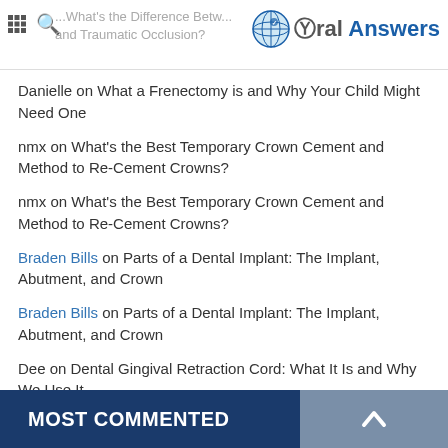Oral Answers – What's the Difference Between... and Traumatic Occlusion?
Danielle on What a Frenectomy is and Why Your Child Might Need One
nmx on What's the Best Temporary Crown Cement and Method to Re-Cement Crowns?
nmx on What's the Best Temporary Crown Cement and Method to Re-Cement Crowns?
Braden Bills on Parts of a Dental Implant: The Implant, Abutment, and Crown
Braden Bills on Parts of a Dental Implant: The Implant, Abutment, and Crown
Dee on Dental Gingival Retraction Cord: What It Is and Why We Use It
MOST COMMENTED